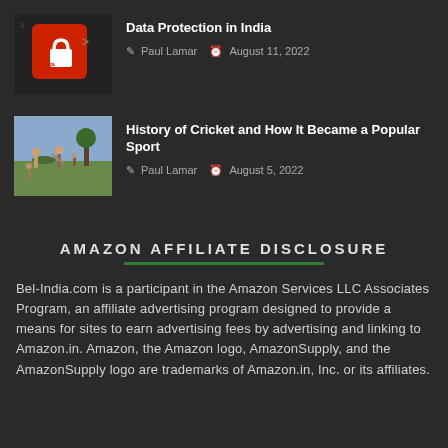[Figure (photo): Thumbnail image of a red 'Data Protection' keyboard key on a dark keyboard]
Data Protection in India
Paul Lamar  August 11, 2022
[Figure (photo): Thumbnail image of a historical cricket painting showing players in a field]
History of Cricket and How It Became a Popular Sport
Paul Lamar  August 5, 2022
AMAZON AFFILIATE DISCLOSURE
Bel-India.com is a participant in the Amazon Services LLC Associates Program, an affiliate advertising program designed to provide a means for sites to earn advertising fees by advertising and linking to Amazon.in. Amazon, the Amazon logo, AmazonSupply, and the AmazonSupply logo are trademarks of Amazon.in, Inc. or its affiliates.